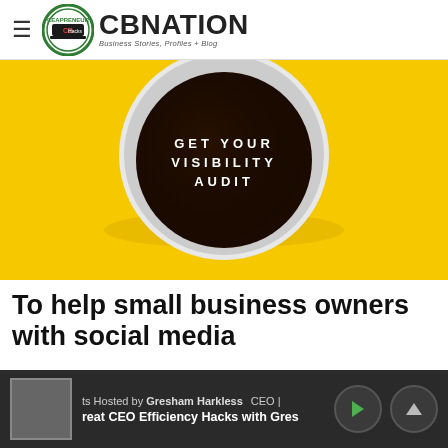CBNATION — Business Stories, Profiles + Blog
[Figure (photo): A top-down photo of a black coffee cup on a yellow background with white text reading GET YOUR VISIBILITY AUDIT]
To help small business owners with social media
ts Hosted by Gresham Harkless   CEO |   reat CEO Efficiency Hacks with Gres